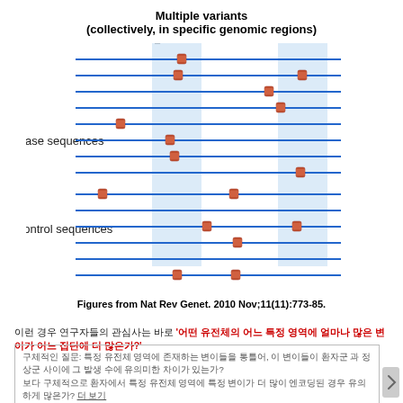[Figure (illustration): Genomic diagram showing multiple variants (collectively, in specific genomic regions). Two highlighted blue shaded columns (genomic regions) are shown. Blue horizontal lines represent sequences. Upper group labeled 'Case sequences' shows multiple variants (red rectangles) clustered within the shaded regions. Lower group labeled 'Control sequences' shows fewer, more scattered variants. Labels: 'Case sequences' on left for upper group, 'Control sequences' on left for lower group.]
Figures from Nat Rev Genet. 2010 Nov;11(11):773-85.
이런 경우 연구자들의 관심사는 바로 '어떤 유전체의 어느 특정 영역에 얼마나 많은 변이가 어느 집단에 더 많은가?'
구체적인 질문: 특정 유전체 영역에 존재하는 변이들을 통틀어, 이 변이들이 환자군 과 정상군 사이에 그 발생 수에 유의미한 차이가 있는가? 보다 구체적으로 환자에서 특정 유전체 영역에 특정 변이가 더 많이 엔코딩된 경우 유의하게 많은가? 더 보기